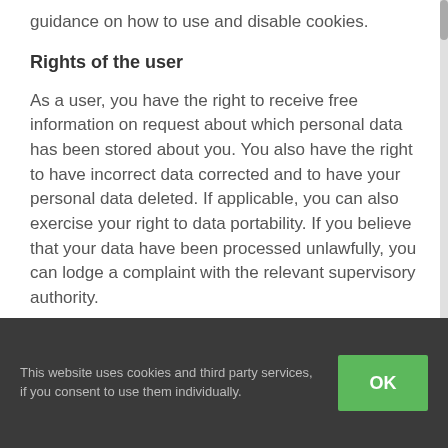guidance on how to use and disable cookies.
Rights of the user
As a user, you have the right to receive free information on request about which personal data has been stored about you. You also have the right to have incorrect data corrected and to have your personal data deleted. If applicable, you can also exercise your right to data portability. If you believe that your data have been processed unlawfully, you can lodge a complaint with the relevant supervisory authority.
This website uses cookies and third party services, if you consent to use them individually.